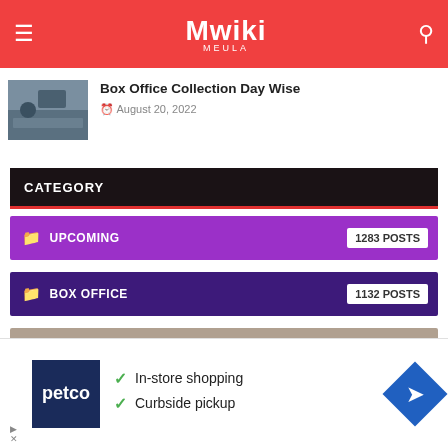Mwiki
Box Office Collection Day Wise
August 20, 2022
CATEGORY
UPCOMING — 1283 POSTS
BOX OFFICE — 1132 POSTS
BOX OFFICE VERDICT HIT OR FLOP — 853 POSTS
V SERIAL — 658 POSTS
[Figure (screenshot): Petco advertisement with In-store shopping and Curbside pickup checkmarks and navigation arrow icon]